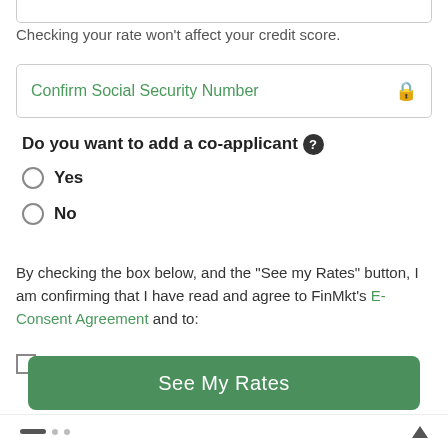Checking your rate won't affect your credit score.
Confirm Social Security Number
Do you want to add a co-applicant ?
Yes
No
By checking the box below, and the "See my Rates" button, I am confirming that I have read and agree to FinMkt's E-Consent Agreement and to:
FinMkt's Terms of Use, Privacy Policy, Credit Report Authorization and Telephone and Email Consents.
See My Rates